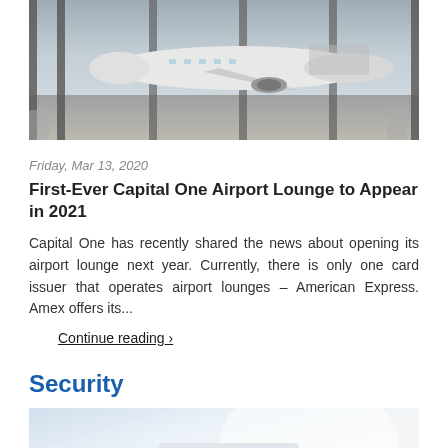[Figure (photo): Airport terminal photo showing a white commercial aircraft at a gate, viewed through floor-to-ceiling windows with waiting area chairs visible]
Friday, Mar 13, 2020
First-Ever Capital One Airport Lounge to Appear in 2021
Capital One has recently shared the news about opening its airport lounge next year. Currently, there is only one card issuer that operates airport lounges – American Express. Amex offers its...
Continue reading ›
Security
[Figure (photo): Blurred close-up photo of a person's hand holding a credit card in a bright, light-colored setting, suggesting financial security or payment]